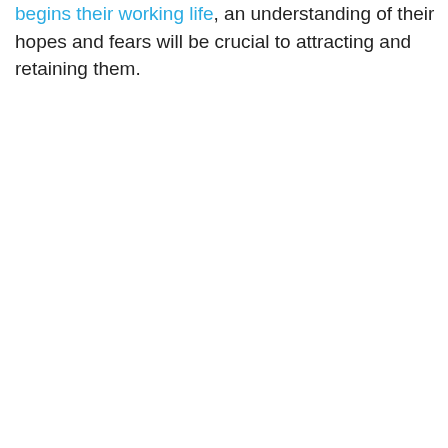begins their working life, an understanding of their hopes and fears will be crucial to attracting and retaining them.